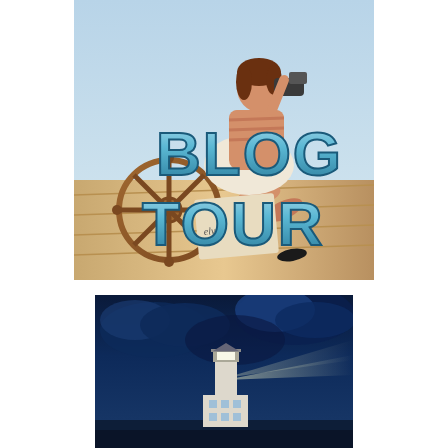[Figure (illustration): Retro pin-up style illustration of a woman in a striped top sitting on a boat deck with a ship's wheel, holding binoculars. Large text overlay reads 'BLOG TOUR' in bold 3D metallic teal/blue letters.]
[Figure (photo): Dramatic photograph of a lighthouse at night with a beam of light shining to the right, set against a dark stormy sky with blue-tinted clouds.]